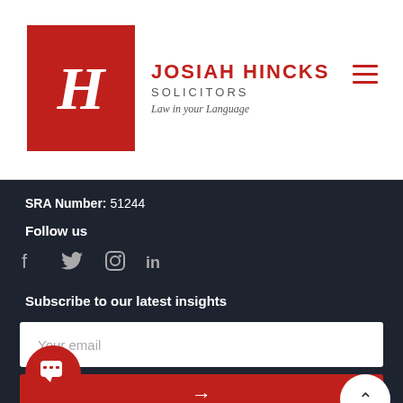[Figure (logo): Josiah Hincks Solicitors logo — red square with white italic H, text 'JOSIAH HINCKS SOLICITORS Law in your Language']
SRA Number: 51244
Follow us
[Figure (infographic): Social media icons: Facebook, Twitter, Instagram, LinkedIn]
Subscribe to our latest insights
Your email